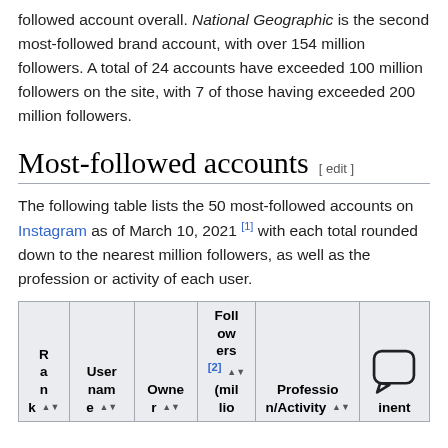followed account overall. National Geographic is the second most-followed brand account, with over 154 million followers. A total of 24 accounts have exceeded 100 million followers on the site, with 7 of those having exceeded 200 million followers.
Most-followed accounts
The following table lists the 50 most-followed accounts on Instagram as of March 10, 2021 [1] with each total rounded down to the nearest million followers, as well as the profession or activity of each user.
| Rank | Username | Owner | Followers [2] (million) | Profession/Activity | Country/inent |
| --- | --- | --- | --- | --- | --- |